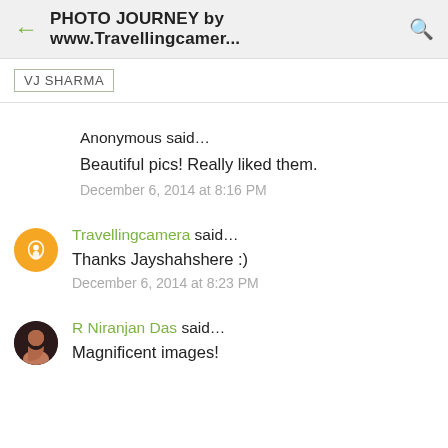PHOTO JOURNEY by www.Travellingcamer...
VJ SHARMA
Anonymous said…
Beautiful pics! Really liked them.
December 6, 2014 at 8:16 PM
Travellingcamera said…
Thanks Jayshahshere :)
December 6, 2014 at 8:23 PM
R Niranjan Das said…
Magnificent images!